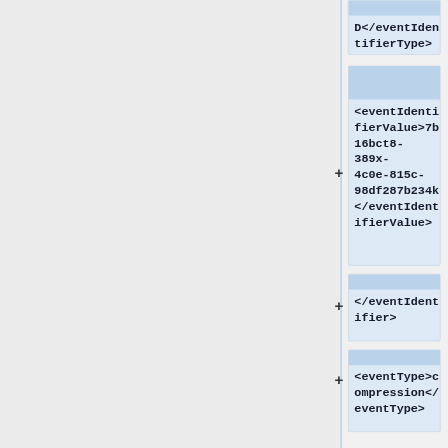[Figure (screenshot): XML editor/tree view showing collapsed XML nodes for eventIdentifierType, eventIdentifierValue, eventIdentifier, and eventType elements with expand (+) controls]
D</eventIdentifierType>
<eventIdentifierValue>7b16bct8-389x-4c0e-815c-98df287b234k</eventIdentifierValue>
</eventIdentifier>
<eventType>compression</eventType>